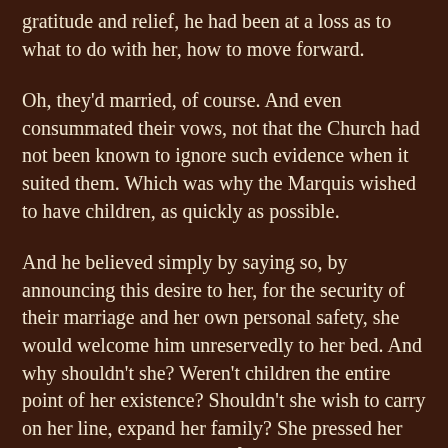gratitude and relief, he had been at a loss as to what to do with her, how to move forward.
Oh, they'd married, of course. And even consummated their vows, not that the Church had not been known to ignore such evidence when it suited them. Which was why the Marquis wished to have children, as quickly as possible.
And he believed simply by saying so, by announcing this desire to her, for the security of their marriage and her own personal safety, she would welcome him unreservedly to her bed. And why shouldn't she? Weren't children the entire point of her existence? Shouldn't she wish to carry on her line, expand her family? She pressed her lips together to keep them from curling at the memory of his words. His entire attitude.
Arrogant, pig-headed, insufferable man. From someone else, she might have expected it, but